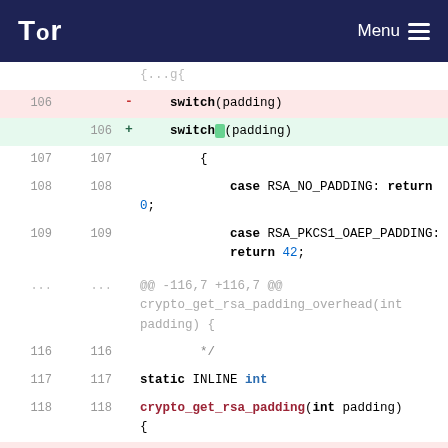Tor — Menu
[Figure (screenshot): Code diff view showing changes to switch(padding) calls in lines 106-122 in a crypto file. Line 106 removes switch(padding) and adds switch (padding) with a space. Lines 107-109 show case statements. Lines 116-122 show static INLINE int crypto_get_rsa_padding function with similar switch spacing change at line 119.]